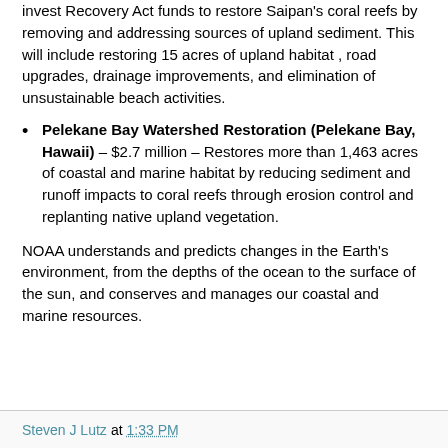invest Recovery Act funds to restore Saipan's coral reefs by removing and addressing sources of upland sediment. This will include restoring 15 acres of upland habitat , road upgrades, drainage improvements, and elimination of unsustainable beach activities.
Pelekane Bay Watershed Restoration (Pelekane Bay, Hawaii) – $2.7 million – Restores more than 1,463 acres of coastal and marine habitat by reducing sediment and runoff impacts to coral reefs through erosion control and replanting native upland vegetation.
NOAA understands and predicts changes in the Earth's environment, from the depths of the ocean to the surface of the sun, and conserves and manages our coastal and marine resources.
Steven J Lutz at 1:33 PM